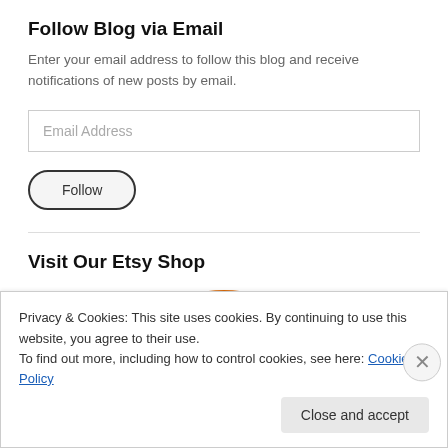Follow Blog via Email
Enter your email address to follow this blog and receive notifications of new posts by email.
Email Address
Follow
Visit Our Etsy Shop
[Figure (other): Partial orange arc shape, top of Etsy shop logo/image]
Privacy & Cookies: This site uses cookies. By continuing to use this website, you agree to their use.
To find out more, including how to control cookies, see here: Cookie Policy
Close and accept